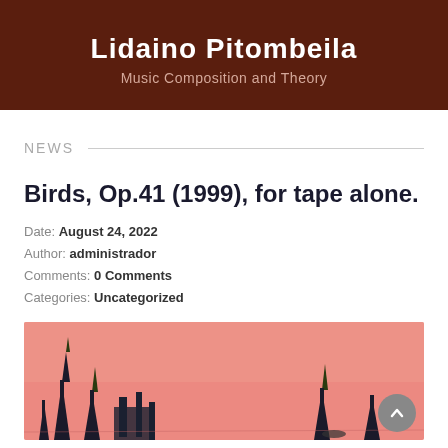Lidaino Pitombeila
Music Composition and Theory
NEWS
Birds, Op.41 (1999), for tape alone.
Date: August 24, 2022
Author: administrador
Comments: 0 Comments
Categories: Uncategorized
[Figure (illustration): Pink/salmon background illustration showing dark silhouettes of abstract bird-like or architectural shapes against a pink sky]